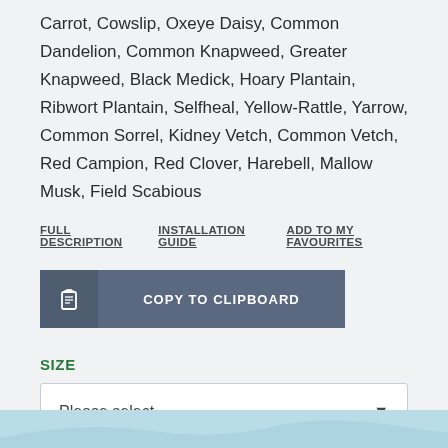Carrot, Cowslip, Oxeye Daisy, Common Dandelion, Common Knapweed, Greater Knapweed, Black Medick, Hoary Plantain, Ribwort Plantain, Selfheal, Yellow-Rattle, Yarrow, Common Sorrel, Kidney Vetch, Common Vetch, Red Campion, Red Clover, Harebell, Mallow Musk, Field Scabious
FULL DESCRIPTION   INSTALLATION GUIDE   ADD TO MY FAVOURITES
COPY TO CLIPBOARD
SIZE
Please select
FROM £10.00
[Figure (illustration): Bottom strip showing a partial illustrated scene with light blue background and decorative elements]